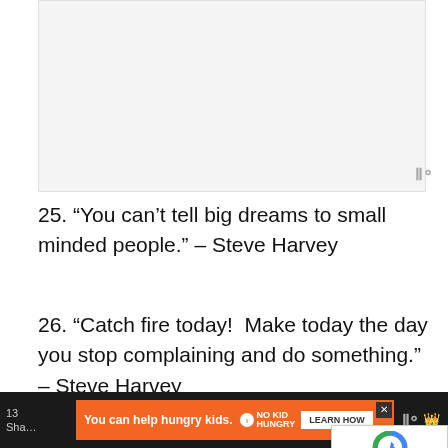[Figure (other): Light gray rectangular placeholder/image area at top of page]
25. “You can’t tell big dreams to small minded people.” – Steve Harvey
26. “Catch fire today!  Make today the day you stop complaining and do something.” – Steve Harvey
27. “The 4 P’s to success: pressure, persistence, perseverance & prayer.” – Steve Harvey
13 Sha… | You can help hungry kids. NO KID HUNGRY LEARN HOW